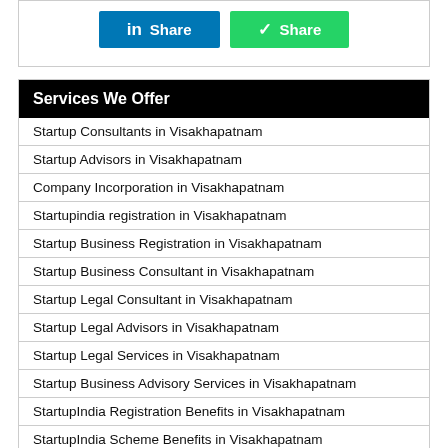[Figure (other): Two share buttons: LinkedIn Share (blue) and WhatsApp Share (green)]
Services We Offer
Startup Consultants in Visakhapatnam
Startup Advisors in Visakhapatnam
Company Incorporation in Visakhapatnam
Startupindia registration in Visakhapatnam
Startup Business Registration in Visakhapatnam
Startup Business Consultant in Visakhapatnam
Startup Legal Consultant in Visakhapatnam
Startup Legal Advisors in Visakhapatnam
Startup Legal Services in Visakhapatnam
Startup Business Advisory Services in Visakhapatnam
StartupIndia Registration Benefits in Visakhapatnam
StartupIndia Scheme Benefits in Visakhapatnam
List of Startup Companies in Visakhapatnam
Top 10 Startup Consultants in Visakhapatnam
Top 10 Startup Advisors in Visakhapatnam
Startup Funding Consultants in Visakhapatnam